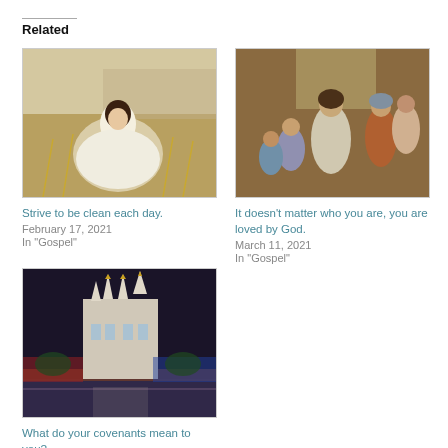Related
[Figure (photo): Young girl in white dress sitting in a wheat field]
Strive to be clean each day.
February 17, 2021
In "Gospel"
[Figure (photo): Religious painting of Jesus Christ with children and women]
It doesn't matter who you are, you are loved by God.
March 11, 2021
In "Gospel"
[Figure (photo): Colorful nighttime aerial illustration of a large temple or cathedral in a city]
What do your covenants mean to you?
October 11, 2021
In "Gospel"